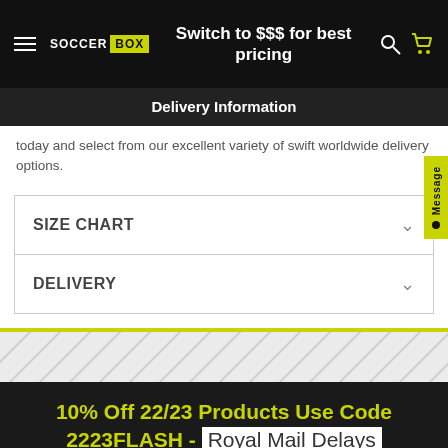Switch to $$$ for best pricing
Delivery Information
today and select from our excellent variety of swift worldwide delivery options.
SIZE CHART
DELIVERY
10% Off 22/23 Products Use Code 2223FLASH - Royal Mail Delays